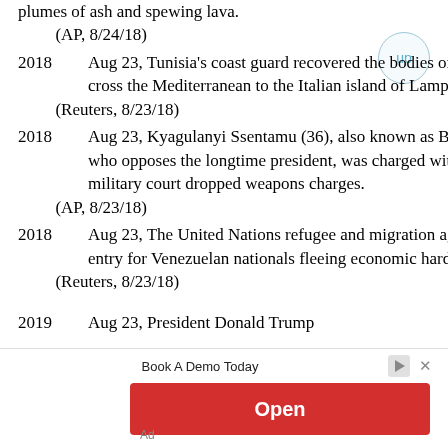plumes of ash and spewing lava.
    (AP, 8/24/18)
2018     Aug 23, Tunisia's coast guard recovered the bodies of five migrants whose boat sank as they tried to cross the Mediterranean to the Italian island of Lampedusa.
    (Reuters, 8/23/18)
2018     Aug 23, Kyagulanyi Ssentamu (36), also known as Bobi Wine, a Ugandan pop star-turned-lawmaker who opposes the longtime president, was charged with treason in a civilian court, minutes after a military court dropped weapons charges.
    (AP, 8/23/18)
2018     Aug 23, The United Nations refugee and migration agencies called on Latin American countries to ease entry for Venezuelan nationals fleeing economic hardship and a deepening political crisis.
    (Reuters, 8/23/18)
2019     Aug 23, President Donald Trump
[Figure (other): Advertisement banner with 'Book A Demo Today' text and 'Open' red button]